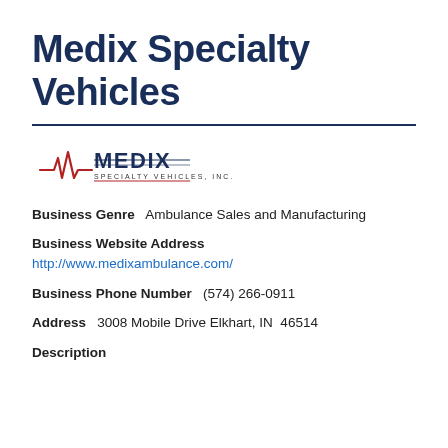Medix Specialty Vehicles
[Figure (logo): Medix Specialty Vehicles, Inc. logo with heartbeat line graphic and stylized text]
Business Genre  Ambulance Sales and Manufacturing
Business Website Address
http://www.medixambulance.com/
Business Phone Number  (574) 266-0911
Address  3008 Mobile Drive Elkhart, IN  46514
Description